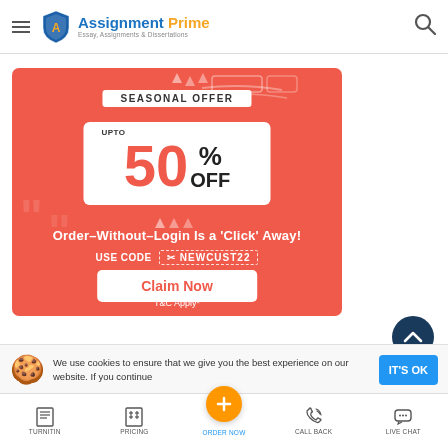[Figure (logo): Assignment Prime logo with shield icon, text 'Assignment Prime' and tagline 'Essay, Assignments & Dissertations']
[Figure (infographic): Seasonal offer banner on coral/red background. Text: 'SEASONAL OFFER', 'UPTO 50% OFF', 'Order-Without-Login Is a Click Away!', 'USE CODE NEWCUST22', 'Claim Now', 'T&C Apply*']
We use cookies to ensure that we give you the best experience on our website. If you continue
[Figure (screenshot): Bottom navigation bar with icons: TURNITIN, PRICING, ORDER NOW (center orange plus button), CALL BACK, LIVE CHAT]